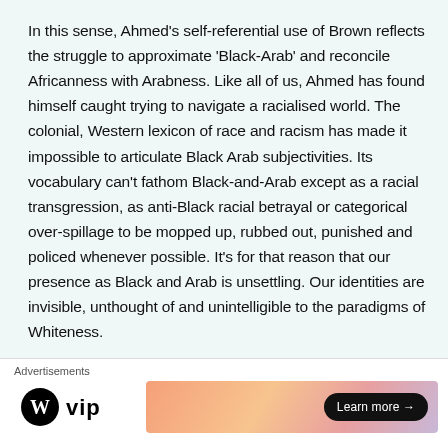In this sense, Ahmed's self-referential use of Brown reflects the struggle to approximate 'Black-Arab' and reconcile Africanness with Arabness. Like all of us, Ahmed has found himself caught trying to navigate a racialised world. The colonial, Western lexicon of race and racism has made it impossible to articulate Black Arab subjectivities. Its vocabulary can't fathom Black-and-Arab except as a racial transgression, as anti-Black racial betrayal or categorical over-spillage to be mopped up, rubbed out, punished and policed whenever possible. It's for that reason that our presence as Black and Arab is unsettling. Our identities are invisible, unthought of and unintelligible to the paradigms of Whiteness.
Advertisements
[Figure (logo): WordPress VIP logo with W circle icon and 'vip' text]
[Figure (other): Advertisement banner with gradient background (orange/pink/purple) and 'Learn more →' button]